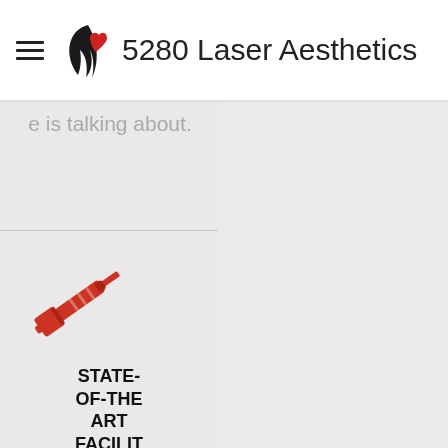5280 Laser Aesthetics
e is talking about.
[Figure (illustration): Red syringe/injection icon]
STATE-OF-THE ART FACILITY
We